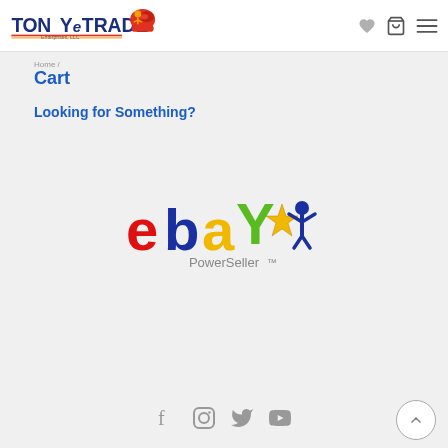[Figure (logo): TONYeTRADE Enterprises, LLC logo with boxing glove graphic]
[Figure (logo): Heart icon, shopping cart icon, and hamburger menu icon in header]
Cart
Looking for Something?
[Figure (logo): eBay PowerSeller logo]
[Figure (logo): Social media icons: Facebook, Instagram, Twitter, YouTube]